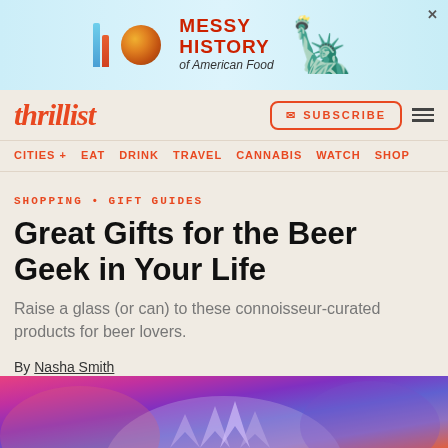[Figure (advertisement): Ad banner for 'Messy History of American Food' with colorful bars, sphere graphic, and Statue of Liberty image]
thrillist — SUBSCRIBE navigation with CITIES+, EAT, DRINK, TRAVEL, CANNABIS, WATCH, SHOP menu items
SHOPPING • GIFT GUIDES
Great Gifts for the Beer Geek in Your Life
Raise a glass (or can) to these connoisseur-curated products for beer lovers.
By Nasha Smith
Published on 11/8/2021 at 6:14 PM
[Figure (photo): Abstract colorful hero image with purple/pink/red swirling patterns]